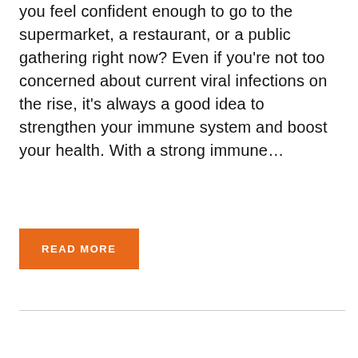you feel confident enough to go to the supermarket, a restaurant, or a public gathering right now? Even if you're not too concerned about current viral infections on the rise, it's always a good idea to strengthen your immune system and boost your health. With a strong immune...
READ MORE